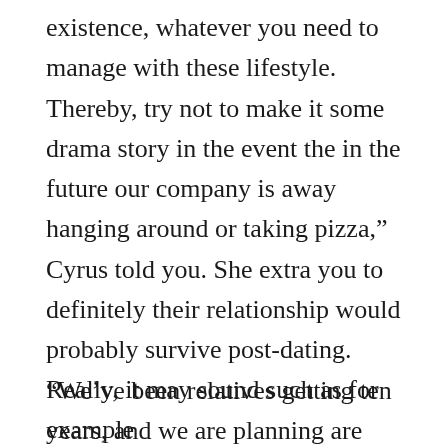existence, whatever you need to manage with these lifestyle. Thereby, try not to make it some drama story in the event the in the future our company is away hanging around or taking pizza,” Cyrus told you. She extra you to definitely their relationship would probably survive post-dating. “We’ve been relatives getting ten years, and we are planning are friends.”
Really, it may sound such as for example